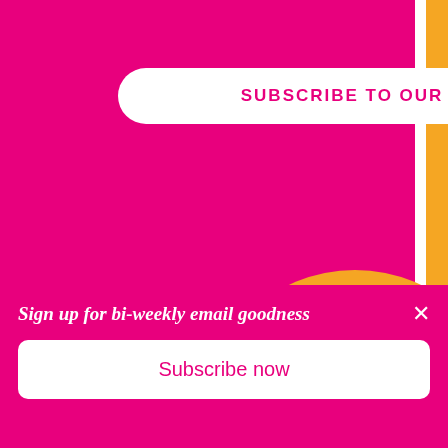[Figure (screenshot): Pink rounded card with a white pill-shaped button labeled SUBSCRIBE TO OUR NEWSLETTER in pink uppercase bold text, with an orange decorative circle partially visible below and to the right, on a white background]
SUBSCRIBE TO OUR NEWSLETTER
[Figure (screenshot): Gray scroll-to-top button with an upward caret/chevron icon]
Sign up for bi-weekly email goodness
Subscribe now